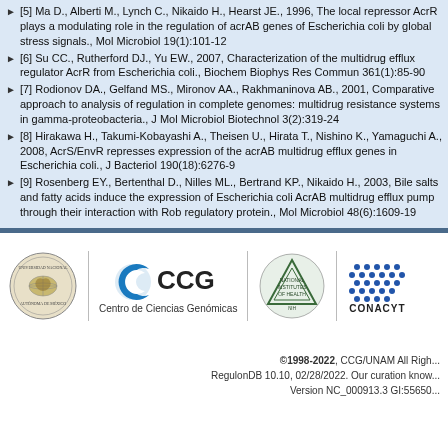[5] Ma D., Alberti M., Lynch C., Nikaido H., Hearst JE., 1996, The local repressor AcrR plays a modulating role in the regulation of acrAB genes of Escherichia coli by global stress signals., Mol Microbiol 19(1):101-12
[6] Su CC., Rutherford DJ., Yu EW., 2007, Characterization of the multidrug efflux regulator AcrR from Escherichia coli., Biochem Biophys Res Commun 361(1):85-90
[7] Rodionov DA., Gelfand MS., Mironov AA., Rakhmaninova AB., 2001, Comparative approach to analysis of regulation in complete genomes: multidrug resistance systems in gamma-proteobacteria., J Mol Microbiol Biotechnol 3(2):319-24
[8] Hirakawa H., Takumi-Kobayashi A., Theisen U., Hirata T., Nishino K., Yamaguchi A., 2008, AcrS/EnvR represses expression of the acrAB multidrug efflux genes in Escherichia coli., J Bacteriol 190(18):6276-9
[9] Rosenberg EY., Bertenthal D., Nilles ML., Bertrand KP., Nikaido H., 2003, Bile salts and fatty acids induce the expression of Escherichia coli AcrAB multidrug efflux pump through their interaction with Rob regulatory protein., Mol Microbiol 48(6):1609-19
[Figure (logo): Footer logos: UNAM seal, CCG Centro de Ciencias Genómicas, National Institutes of Health, CONACYT]
©1998-2022, CCG/UNAM All Rights Reserved. RegulonDB 10.10, 02/28/2022. Our curation knowledge... Version NC_000913.3 GI:55650...